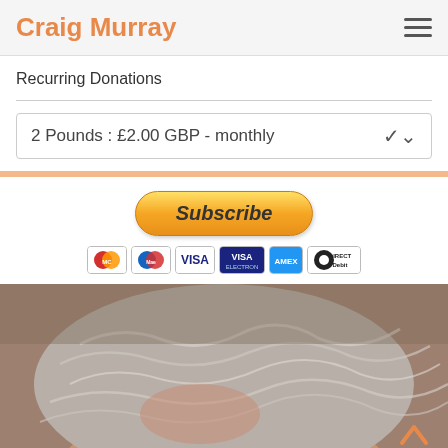Craig Murray
Recurring Donations
2 Pounds : £2.00 GBP - monthly
[Figure (screenshot): PayPal Subscribe button with payment method icons: MasterCard, Maestro, VISA, VISA Electron, American Express, Direct Debit]
[Figure (photo): Close-up photo of top of a person's head with gray/white hair]